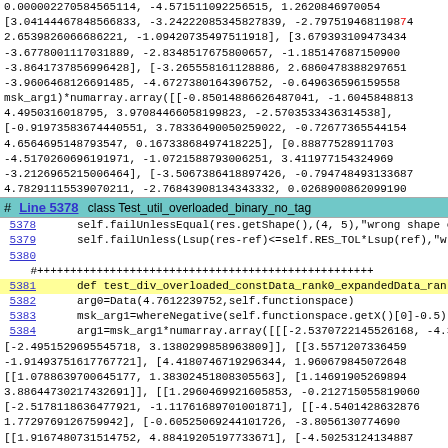0.000002270584565114, -4.571511092256515, 1.262084697005...
[3.04144467848566833, -3.24222085345827839, -2.79751946811987...
2.6539826066686221, -1.09420735497511918], [3.679393109473434...
-3.6778001117031889, -2.8348517675800657, -1.185147687150908...
-3.8641737856996428], [-3.265558161128886, 2.6860478388297651...
-3.9606468126691485, -4.6727380164396752, -0.649636596159558...
msk_arg1)*numarray.array([[-0.85014886626487041, -1.60458488813...
4.4950316018795, 3.97084466058199823, -2.57035334363145381,
[-0.91973583674440551, 3.78336490050259022, -0.726773655441154...
4.6564695148793547, 0.16733868497418225], [0.888775289117031...
-4.5170260696191971, -1.0721588793006251, 3.411977154324969...
-3.2126965215006464], [-3.5067386418897426, -0.79474849313687...
4.78291115539070211, -2.76843908134343332, 0.02689008620991901
# Line 5378  class Test_util_overloaded_binary_no_tag
5378    self.failUnlessEqual(res.getShape(),(4, 5),"wrong shape of result
5379    self.failUnless(Lsup(res-ref)<=self.RES_TOL*Lsup(ref),"wrong re
5380
#++++++++++++++++++++++++++++++++++++++++++++++++++
5381    def test_div_overloaded_constData_rank0_expandedData_rank3(
5382    arg0=Data(4.7612239752,self.functionspace)
5383    msk_arg1=whereNegative(self.functionspace.getX()[0]-0.5)
5384    arg1=msk_arg1*numarray.array([[[-2.5370722145526168, -4.362...
[-2.4951529695545718, 3.1380299858963809]], [[3.5571207336459...
-1.91493751617767721], [4.4180746719296344, 1.960679845072648...
[[1.0788639700645177, 1.38302451808305563], [1.14691905269894...
3.88644730217432691]], [[1.2960469921605853, -0.21271505581906...
[-2.5178118636477921, -1.11761689701001871], [[-4.5401428632876...
1.7729769126759942], [-0.60525069244101726, -3.8056130774690...
[[1.9167480731514752, 4.88419205197733671], [-4.50253124134887...
...]], #wrong result